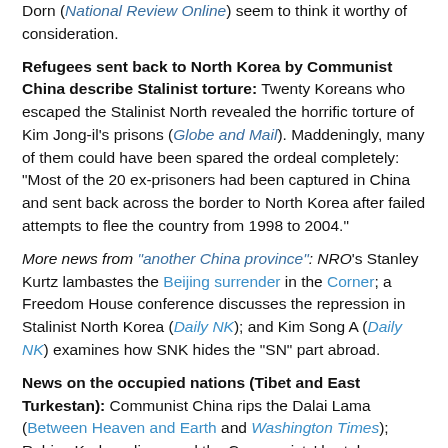Dorn (National Review Online) seem to think it worthy of consideration.
Refugees sent back to North Korea by Communist China describe Stalinist torture: Twenty Koreans who escaped the Stalinist North revealed the horrific torture of Kim Jong-il's prisons (Globe and Mail). Maddeningly, many of them could have been spared the ordeal completely: "Most of the 20 ex-prisoners had been captured in China and sent back across the border to North Korea after failed attempts to flee the country from 1998 to 2004."
More news from "another China province": NRO's Stanley Kurtz lambastes the Beijing surrender in the Corner; a Freedom House conference discusses the repression in Stalinist North Korea (Daily NK); and Kim Song A (Daily NK) examines how SNK hides the "SN" part abroad.
News on the occupied nations (Tibet and East Turkestan): Communist China rips the Dalai Lama (Between Heaven and Earth and Washington Times); Rebiya Kadeer discussed the Communists' brutal persecution of the Uighurs